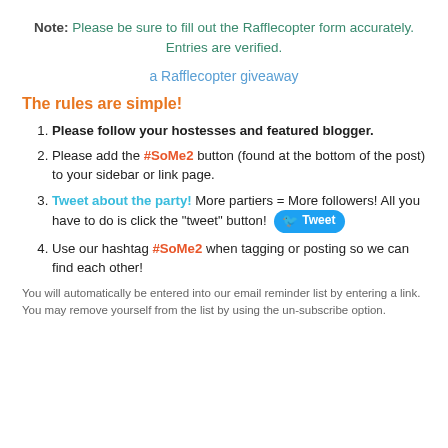Note: Please be sure to fill out the Rafflecopter form accurately. Entries are verified.
a Rafflecopter giveaway
The rules are simple!
Please follow your hostesses and featured blogger.
Please add the #SoMe2 button (found at the bottom of the post) to your sidebar or link page.
Tweet about the party! More partiers = More followers! All you have to do is click the "tweet" button!
Use our hashtag #SoMe2 when tagging or posting so we can find each other!
You will automatically be entered into our email reminder list by entering a link. You may remove yourself from the list by using the un-subscribe option.